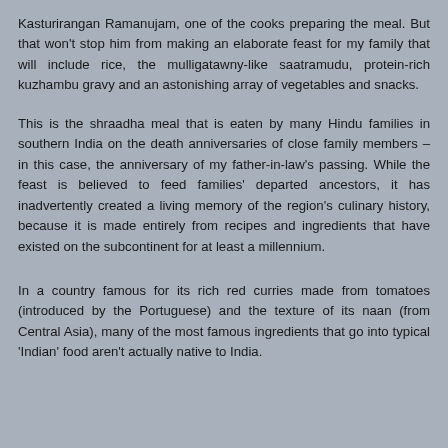Kasturirangan Ramanujam, one of the cooks preparing the meal. But that won't stop him from making an elaborate feast for my family that will include rice, the mulligatawny-like saatramudu, protein-rich kuzhambu gravy and an astonishing array of vegetables and snacks.
This is the shraadha meal that is eaten by many Hindu families in southern India on the death anniversaries of close family members – in this case, the anniversary of my father-in-law's passing. While the feast is believed to feed families' departed ancestors, it has inadvertently created a living memory of the region's culinary history, because it is made entirely from recipes and ingredients that have existed on the subcontinent for at least a millennium.
In a country famous for its rich red curries made from tomatoes (introduced by the Portuguese) and the texture of its naan (from Central Asia), many of the most famous ingredients that go into typical 'Indian' food aren't actually native to India.